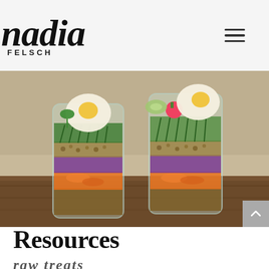nadia FELSCH
[Figure (photo): Two glass mason jars filled with layered salad ingredients including boiled eggs, dill, microgreens, radishes, purple cabbage, lentils, and shredded carrots, photographed on a wooden surface with a stone wall background.]
Resources
raw treats